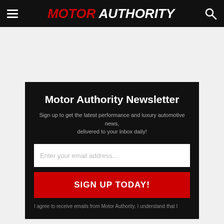MOTOR AUTHORITY
Motor Authority Newsletter
Sign up to get the latest performance and luxury automotive news, delivered to your inbox daily!
Enter your email address...
SIGN UP TODAY!
I agree to receive emails from Motor Authority. I understand that I